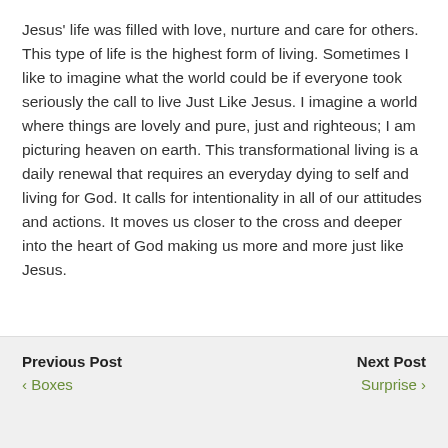Jesus' life was filled with love, nurture and care for others. This type of life is the highest form of living. Sometimes I like to imagine what the world could be if everyone took seriously the call to live Just Like Jesus. I imagine a world where things are lovely and pure, just and righteous; I am picturing heaven on earth. This transformational living is a daily renewal that requires an everyday dying to self and living for God. It calls for intentionality in all of our attitudes and actions. It moves us closer to the cross and deeper into the heart of God making us more and more just like Jesus.
Previous Post ‹ Boxes | Next Post Surprise ›